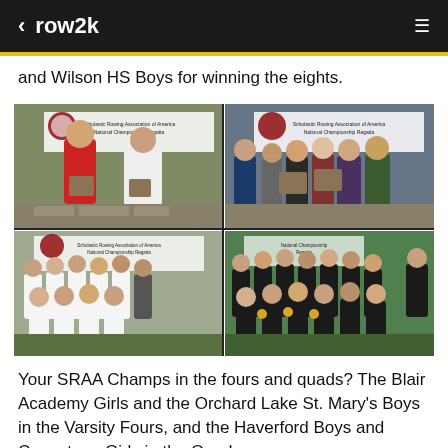row2k
and Wilson HS Boys for winning the eights.
[Figure (photo): Four-panel photo collage of rowing championship teams at SRAA National Championship Regatta. Top-left: male rower in red/yellow singlet holding trophy plaque with coach in white shirt. Top-right: group of athletes and officials holding trophy plaques. Bottom-left: girls rowing team in white uniforms with coaches. Bottom-right: boys rowing team in black/green uniforms holding medals.]
Your SRAA Champs in the fours and quads? The Blair Academy Girls and the Orchard Lake St. Mary's Boys in the Varsity Fours, and the Haverford Boys and Conestoga Girls in the Quads.